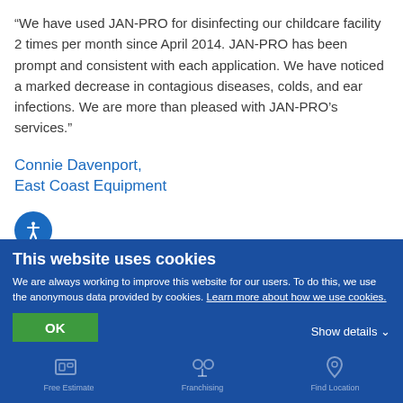“We have used JAN-PRO for disinfecting our childcare facility 2 times per month since April 2014. JAN-PRO has been prompt and consistent with each application. We have noticed a marked decrease in contagious diseases, colds, and ear infections. We are more than pleased with JAN-PRO’s services.”
Connie Davenport,
East Coast Equipment
"Our company has been with JAN-PRO for quite some time now. We are totally satisfied with the service we receive and would highly recommend them. Thanks for doing such a great job."
This website uses cookies
We are always working to improve this website for our users. To do this, we use the anonymous data provided by cookies. Learn more about how we use cookies.
OK
Show details